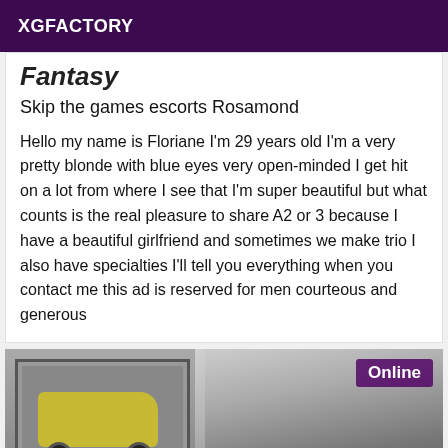XGFACTORY
Fantasy
Skip the games escorts Rosamond
Hello my name is Floriane I'm 29 years old I'm a very pretty blonde with blue eyes very open-minded I get hit on a lot from where I see that I'm super beautiful but what counts is the real pleasure to share A2 or 3 because I have a beautiful girlfriend and sometimes we make trio I also have specialties I'll tell you everything when you contact me this ad is reserved for men courteous and generous
[Figure (photo): Photo showing a yellow sports car poster on a wall with a person visible on the right side, with an 'Online' badge overlay]